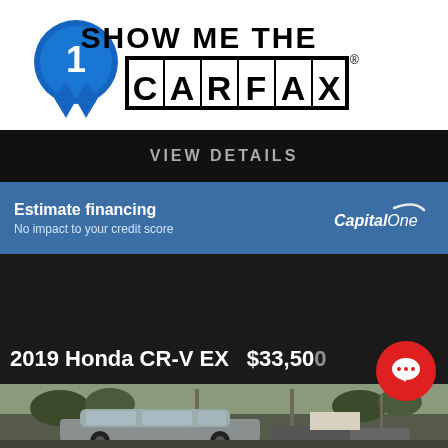[Figure (logo): Show Me The CARFAX logo with blue ribbon/badge medal and black bordered CARFAX text box]
VIEW DETAILS
Estimate financing
No impact to your credit score
[Figure (logo): Capital One logo in white italic text]
2019 Honda CR-V EX   $33,500
[Figure (photo): Photo of a Honda CR-V SUV in a car dealership lot with trees in background]